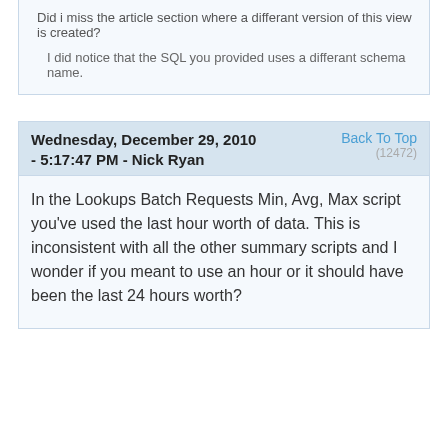.[dm_os_performance_counter] view with a column named [data_stamp]
Did i miss the article section where a differant version of this view is created?
I did notice that the SQL you provided uses a differant schema name.
Wednesday, December 29, 2010 - 5:17:47 PM - Nick Ryan
Back To Top
(12472)
In the Lookups Batch Requests Min, Avg, Max script you've used the last hour worth of data. This is inconsistent with all the other summary scripts and I wonder if you meant to use an hour or it should have been the last 24 hours worth?